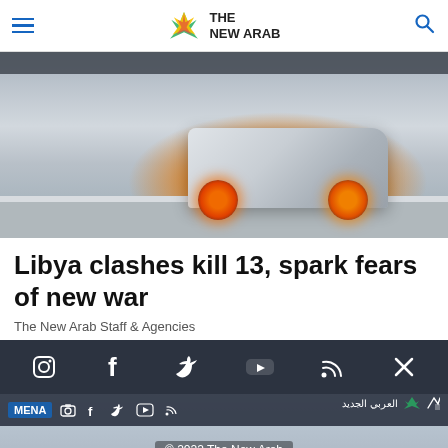The New Arab
[Figure (photo): A burned-out vehicle on fire in an open area, likely a conflict zone in Libya]
Libya clashes kill 13, spark fears of new war
The New Arab Staff & Agencies
[Figure (screenshot): Social media/sharing bar overlay with Instagram, Facebook, Twitter, YouTube, RSS, and close icons on dark background, with a second news photo of officials near an airplane underneath and copyright/privacy footer links]
Most Viewed